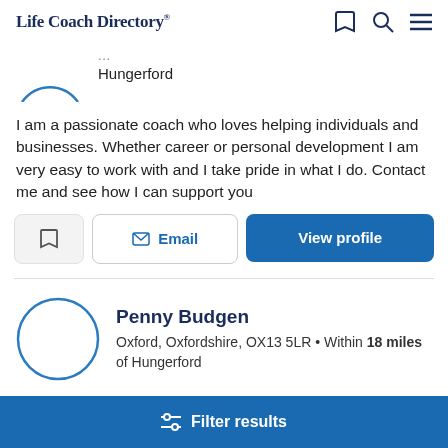Life Coach Directory
Hungerford
I am a passionate coach who loves helping individuals and businesses. Whether career or personal development I am very easy to work with and I take pride in what I do. Contact me and see how I can support you
Email | View profile
Penny Budgen
Oxford, Oxfordshire, OX13 5LR • Within 18 miles of Hungerford
Filter results